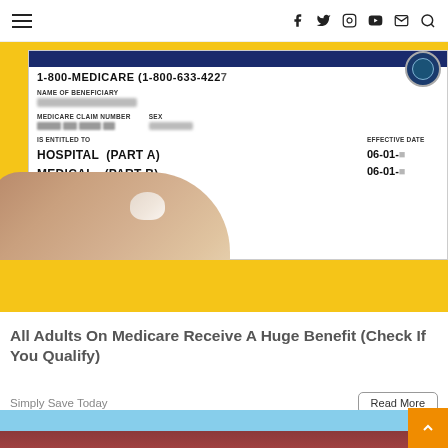Navigation bar with hamburger menu and social icons: facebook, twitter, instagram, youtube, email, search
[Figure (photo): Photo of a Medicare insurance card held in someone's hand against a yellow background. Card shows: 1-800-MEDICARE (1-800-633-4227), NAME OF BENEFICIARY (blurred), MEDICARE CLAIM NUMBER (blurred), SEX (blurred), EFFECTIVE DATE, IS ENTITLED TO: HOSPITAL (PART A) 06-01-, MEDICAL (PART B) 06-01-]
All Adults On Medicare Receive A Huge Benefit (Check If You Qualify)
Simply Save Today
Read More